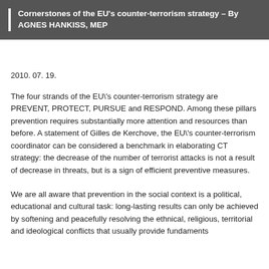Cornerstones of the EU's counter-terrorism strategy – By AGNES HANKISS, MEP
2010. 07. 19.
The four strands of the EU\'s counter-terrorism strategy are PREVENT, PROTECT, PURSUE and RESPOND. Among these pillars prevention requires substantially more attention and resources than before. A statement of Gilles de Kerchove, the EU\'s counter-terrorism coordinator can be considered a benchmark in elaborating CT strategy: the decrease of the number of terrorist attacks is not a result of decrease in threats, but is a sign of efficient preventive measures.
We are all aware that prevention in the social context is a political, educational and cultural task: long-lasting results can only be achieved by softening and peacefully resolving the ethnical, religious, territorial and ideological conflicts that usually provide fundaments